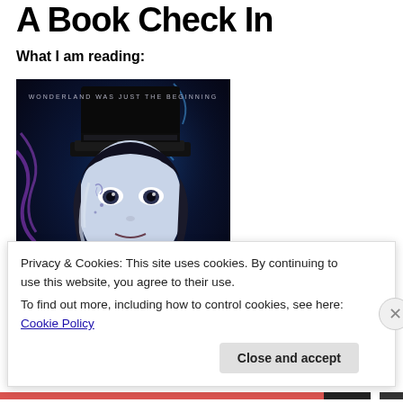A Book Check In
What I am reading:
[Figure (illustration): Book cover illustration showing a dark, gothic Mad Hatter-style character with a tall black top hat, pale skin with decorative markings, white ruffled shirt, dark butterfly/moth bow tie, surrounded by purple and green vines and plants on a dark blue/purple background. Text at top reads 'WONDERLAND WAS JUST THE BEGINNING'. Photobucket watermark visible.]
Privacy & Cookies: This site uses cookies. By continuing to use this website, you agree to their use.
To find out more, including how to control cookies, see here: Cookie Policy
Close and accept